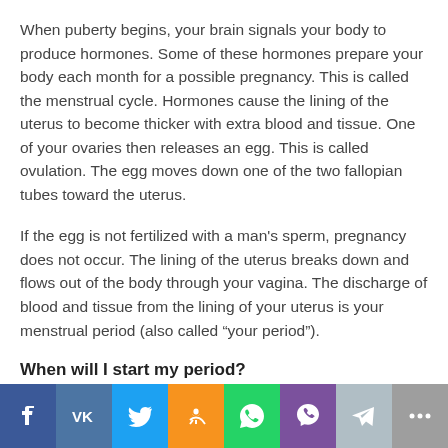When puberty begins, your brain signals your body to produce hormones. Some of these hormones prepare your body each month for a possible pregnancy. This is called the menstrual cycle. Hormones cause the lining of the uterus to become thicker with extra blood and tissue. One of your ovaries then releases an egg. This is called ovulation. The egg moves down one of the two fallopian tubes toward the uterus.
If the egg is not fertilized with a man's sperm, pregnancy does not occur. The lining of the uterus breaks down and flows out of the body through your vagina. The discharge of blood and tissue from the lining of your uterus is your menstrual period (also called “your period”).
When will I start my period?
Most girls start their periods between the ages of 12 years and 14 years, but some start earlier or later.